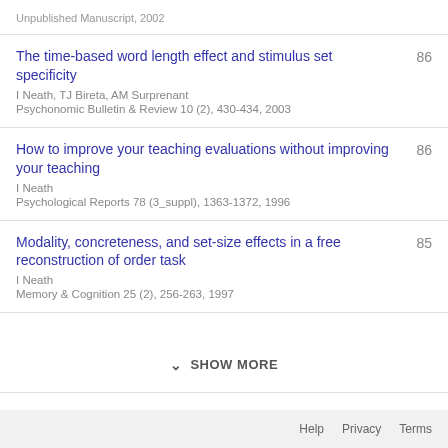Unpublished Manuscript, 2002
The time-based word length effect and stimulus set specificity
I Neath, TJ Bireta, AM Surprenant
Psychonomic Bulletin & Review 10 (2), 430-434, 2003
86
How to improve your teaching evaluations without improving your teaching
I Neath
Psychological Reports 78 (3_suppl), 1363-1372, 1996
86
Modality, concreteness, and set-size effects in a free reconstruction of order task
I Neath
Memory & Cognition 25 (2), 256-263, 1997
85
SHOW MORE
Help  Privacy  Terms